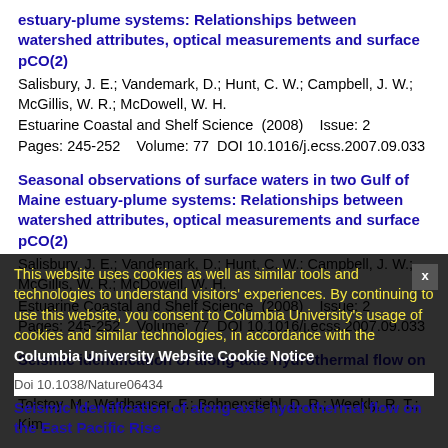estuary-plume systems: Relationships between watershed attributes, optical measurements and surface pCO(2)
Salisbury, J. E.; Vandemark, D.; Hunt, C. W.; Campbell, J. W.; McGillis, W. R.; McDowell, W. H.
Estuarine Coastal and Shelf Science  (2008)    Issue: 2
Pages: 245-252    Volume: 77  DOI 10.1016/j.ecss.2007.09.033
Seasonal observations of surface waters in two Gulf of Maine estuary-plume systems: Relationships between watershed attributes, optical measurements and surface pCO(2)
Salisbury, J. E.; Vandemark, D.; Hunt, C. W.; Campbell, J. W.; McGillis, W. R.; McDowell, W. H.
Estuarine Coastal and Shelf Science  (2008)    Issue: 2
Pages: 245-252    Volume: 77  DOI 10.1016/j.ecss.2007.09.033
Seismic identification of along-axis hydrothermal flow on the East Pacific Rise
Tolstoy, M.; Waldhauser, F.; Bohnenstiehl, D. R.; Weekly, R. T.; Kim, W. Y.
Nature (2008)    Issue: 7175  Pages: 181-U17   Volume: 452    DOI 10.1038/Nature06424
This website uses cookies as well as similar tools and technologies to understand visitors' experiences. By continuing to use this website, you consent to Columbia University's usage of cookies and similar technologies, in accordance with the Columbia University Website Cookie Notice
Seismic identification of along-axis hydrothermal flow on the East Pacific Rise